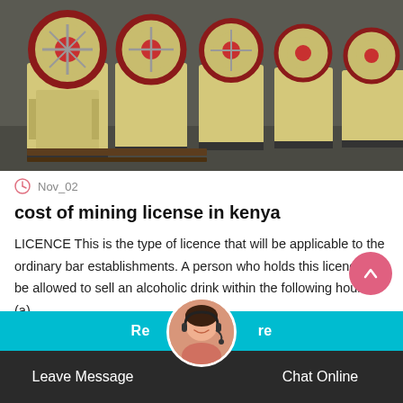[Figure (photo): Row of large yellow industrial jaw crusher machines lined up in a factory warehouse with grey floor]
Nov_02
cost of mining license in kenya
LICENCE This is the type of licence that will be applicable to the ordinary bar establishments. A person who holds this licence will be allowed to sell an alcoholic drink within the following hours- (a)
Read more
Leave Message
Chat Online